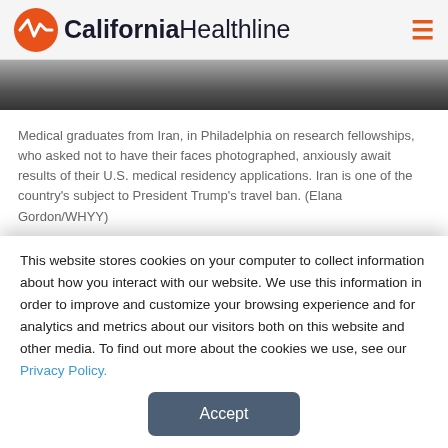California Healthline
[Figure (photo): Partial photo visible at top — dark/grey image strip showing medical graduates from Iran]
Medical graduates from Iran, in Philadelphia on research fellowships, who asked not to have their faces photographed, anxiously await results of their U.S. medical residency applications. Iran is one of the country's subject to President Trump's travel ban. (Elana Gordon/WHYY)
Dr. Amin Rabiei knew he wanted to work in medicine from an early age. While growing up in Iran, he watched his dad experience seizures and his mom struggle to help. Rabiei went on to medical
This website stores cookies on your computer to collect information about how you interact with our website. We use this information in order to improve and customize your browsing experience and for analytics and metrics about our visitors both on this website and other media. To find out more about the cookies we use, see our Privacy Policy.
Accept